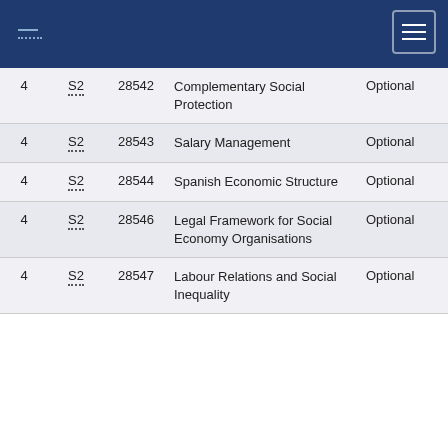Navigation header with logo and hamburger menu
| Year | Sem | Code | Subject | Type |
| --- | --- | --- | --- | --- |
| 4 | S2 | 28542 | Complementary Social Protection | Optional |
| 4 | S2 | 28543 | Salary Management | Optional |
| 4 | S2 | 28544 | Spanish Economic Structure | Optional |
| 4 | S2 | 28546 | Legal Framework for Social Economy Organisations | Optional |
| 4 | S2 | 28547 | Labour Relations and Social Inequality | Optional |